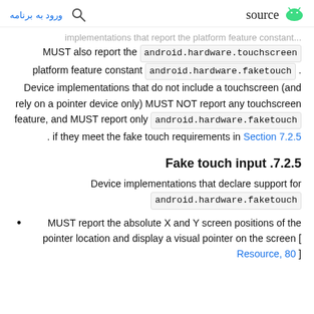ورود به برنامه  [search icon]  [android logo] source
...implementations that report the platform feature constant android.hardware.touchscreen MUST also report the platform feature constant android.hardware.faketouch . Device implementations that do not include a touchscreen (and rely on a pointer device only) MUST NOT report any touchscreen feature, and MUST report only android.hardware.faketouch if they meet the fake touch requirements in Section 7.2.5 .
7.2.5. Fake touch input
Device implementations that declare support for android.hardware.faketouch
MUST report the absolute X and Y screen positions of the pointer location and display a visual pointer on the screen [ Resource, 80 ]